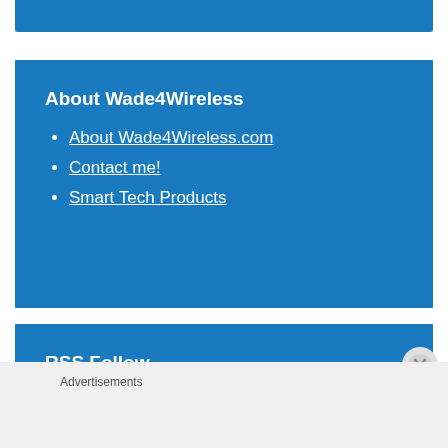[Figure (other): Blue banner bar at top of page]
About Wade4Wireless
About Wade4Wireless.com
Contact me!
Smart Tech Products
RSS Follow
Advertisements